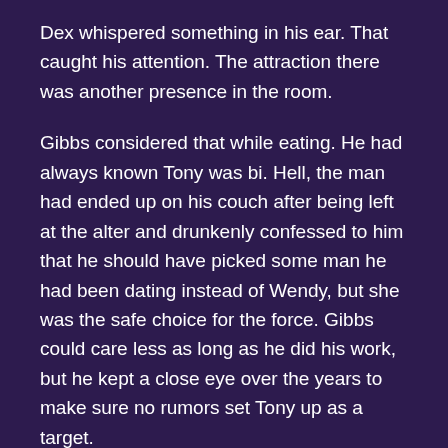Dex whispered something in his ear. That caught his attention. The attraction there was another presence in the room.
Gibbs considered that while eating. He had always known Tony was bi. Hell, the man had ended up on his couch after being left at the alter and drunkenly confessed to him that he should have picked some man he had been dating instead of Wendy, but she was the safe choice for the force. Gibbs could care less as long as he did his work, but he kept a close eye over the years to make sure no rumors set Tony up as a target.
The movies were good, not that Gibbs cared to remember their names. Alex showed off his discovery of the internet and was trying to quote as